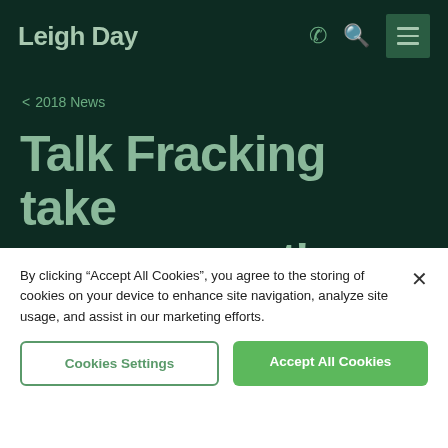Leigh Day
< 2018 News
Talk Fracking take government's fracking policy to the High Court
By clicking “Accept All Cookies”, you agree to the storing of cookies on your device to enhance site navigation, analyze site usage, and assist in our marketing efforts.
Cookies Settings
Accept All Cookies